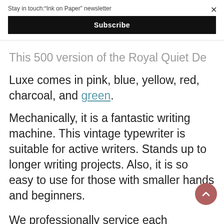Stay in touch:"Ink on Paper" newsletter
Subscribe
This 500 version of the Royal Quiet De Luxe comes in pink, blue, yellow, red, charcoal, and green.
Mechanically, it is a fantastic writing machine. This vintage typewriter is suitable for active writers. Stands up to longer writing projects. Also, it is so easy to use for those with smaller hands and beginners.
We professionally service each typewriter. It is cleaned, serviced, and tested.